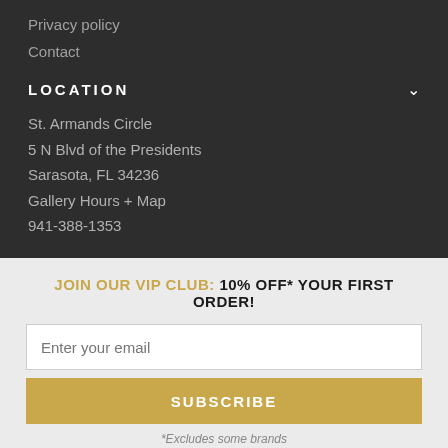Privacy policy
Contact
LOCATION
St. Armands Circle
5 N Blvd of the Presidents
Sarasota, FL 34236
Gallery Hours + Map
941-388-1353
JOIN OUR VIP CLUB: 10% OFF* YOUR FIRST ORDER!
Enter your email
SUBSCRIBE
*Excludes some brands